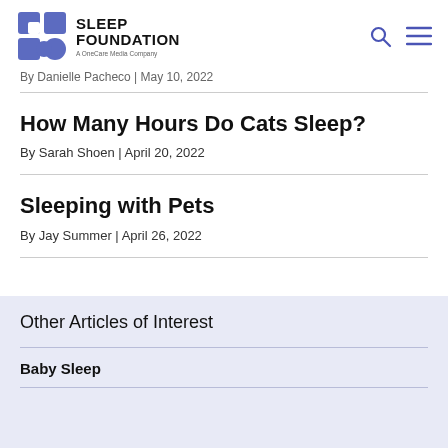Sleep Foundation — A OneCare Media Company
By Danielle Pacheco | May 10, 2022
How Many Hours Do Cats Sleep?
By Sarah Shoen | April 20, 2022
Sleeping with Pets
By Jay Summer | April 26, 2022
Other Articles of Interest
Baby Sleep